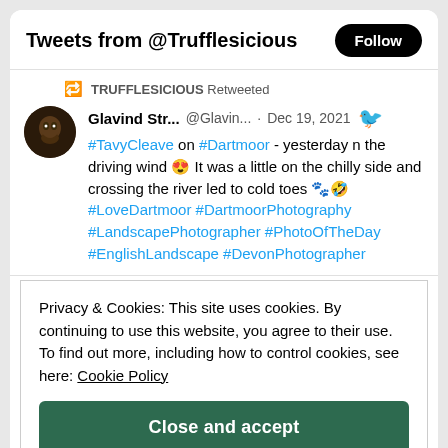Tweets from @Trufflesicious
TRUFFLESICIOUS Retweeted
Glavind Str... @Glavin... · Dec 19, 2021
#TavyCleave on #Dartmoor - yesterday n the driving wind 😍 It was a little on the chilly side and crossing the river led to cold toes 🐾🤣 #LoveDartmoor #DartmoorPhotography #LandscapePhotographer #PhotoOfTheDay #EnglishLandscape #DevonPhotographer
Privacy & Cookies: This site uses cookies. By continuing to use this website, you agree to their use.
To find out more, including how to control cookies, see here: Cookie Policy
Close and accept
Search Categories